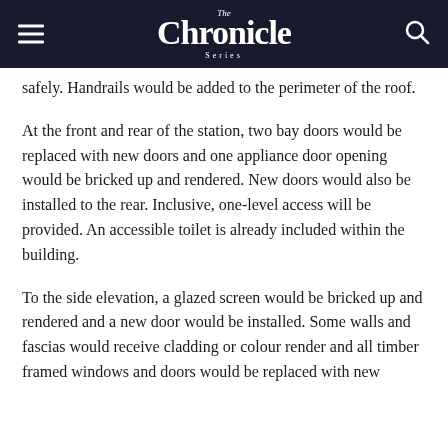The Chronicle Series
…safely. Handrails would be added to the perimeter of the roof.
At the front and rear of the station, two bay doors would be replaced with new doors and one appliance door opening would be bricked up and rendered. New doors would also be installed to the rear. Inclusive, one-level access will be provided. An accessible toilet is already included within the building.
To the side elevation, a glazed screen would be bricked up and rendered and a new door would be installed. Some walls and fascias would receive cladding or colour render and all timber framed windows and doors would be replaced with new